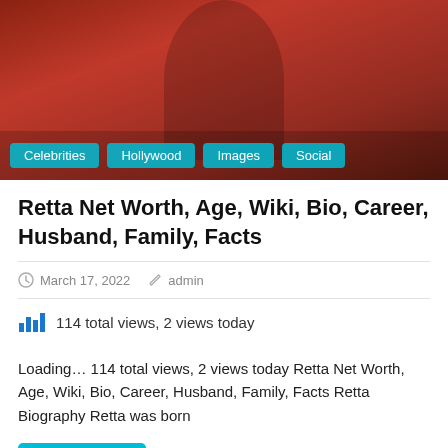[Figure (photo): Photo of Retta wearing a red hoodie, with category tag pills overlaid at the bottom: Celebrities, Hollywood, Images, Social]
Retta Net Worth, Age, Wiki, Bio, Career, Husband, Family, Facts
March 17, 2022   admin
114 total views,  2 views today
Loading…  114 total views,  2 views today Retta Net Worth, Age, Wiki, Bio, Career, Husband, Family, Facts Retta Biography Retta was born
READ MORE